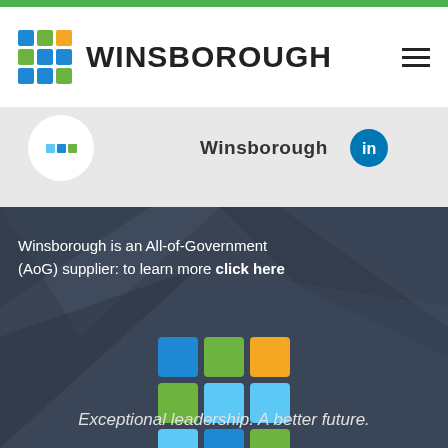[Figure (logo): Winsborough logo with colorful 3x3 dot grid and WINSBOROUGH wordmark in header, with hamburger menu icon]
[Figure (screenshot): Partial screenshot of Winsborough LinkedIn profile showing logo circle, Winsborough text, and LinkedIn icon]
Winsborough is an All-of-Government (AoG) supplier: to learn more click here
[Figure (logo): Winsborough colorful 3x3 dot grid logo on dark background]
Exceptional leadership. A better future.